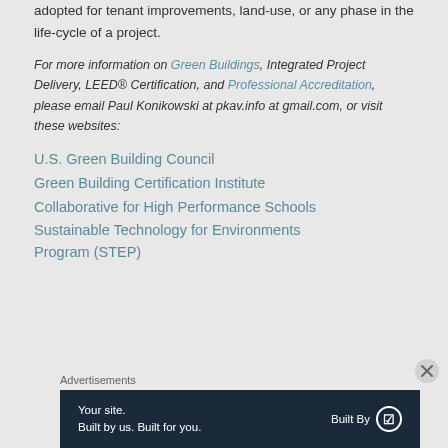adopted for tenant improvements, land-use, or any phase in the life-cycle of a project.
For more information on Green Buildings, Integrated Project Delivery, LEED® Certification, and Professional Accreditation, please email Paul Konikowski at pkav.info at gmail.com, or visit these websites:
U.S. Green Building Council
Green Building Certification Institute
Collaborative for High Performance Schools
Sustainable Technology for Environments Program (STEP)
Advertisements
[Figure (other): Advertisement banner: dark navy background with text 'Your site. Built by us. Built for you.' and 'Built By' with WordPress logo on the right.]